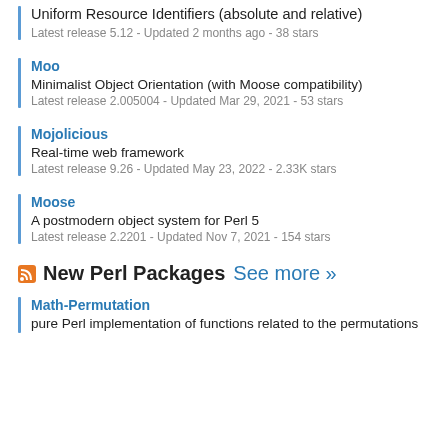Uniform Resource Identifiers (absolute and relative)
Latest release 5.12 - Updated 2 months ago - 38 stars
Moo
Minimalist Object Orientation (with Moose compatibility)
Latest release 2.005004 - Updated Mar 29, 2021 - 53 stars
Mojolicious
Real-time web framework
Latest release 9.26 - Updated May 23, 2022 - 2.33K stars
Moose
A postmodern object system for Perl 5
Latest release 2.2201 - Updated Nov 7, 2021 - 154 stars
New Perl Packages See more »
Math-Permutation
pure Perl implementation of functions related to the permutations